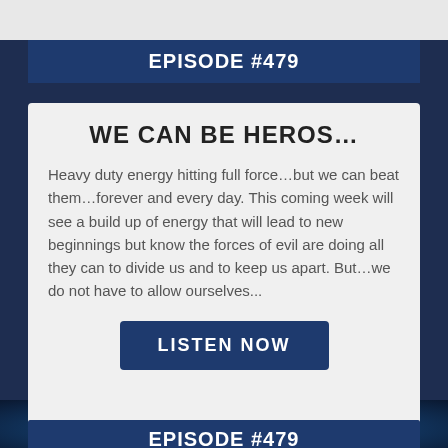EPISODE #479
WE CAN BE HEROS…
Heavy duty energy hitting full force…but we can beat them…forever and every day. This coming week will see a build up of energy that will lead to new beginnings but know the forces of evil are doing all they can to divide us and to keep us apart. But…we do not have to allow ourselves...
LISTEN NOW
AIRED: 11-20-2018
EPISODE #479